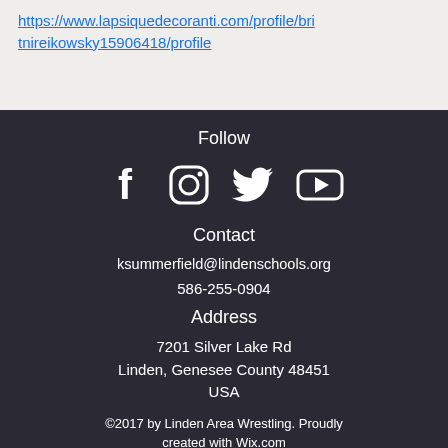https://www.lapsiquedecoranti.com/profile/britnireikowsky15906418/profile
Follow
[Figure (illustration): Social media icons: Facebook, Instagram, Twitter, YouTube]
Contact
ksummerfield@lindenschools.org
586-255-0904
Address
7201 Silver Lake Rd
Linden, Genesee County 48451
USA
©2017 by Linden Area Wrestling. Proudly created with Wix.com